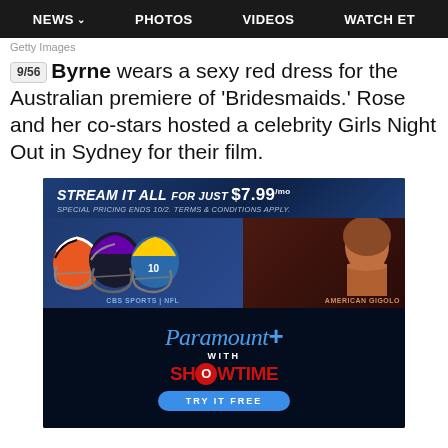NEWS  PHOTOS  VIDEOS  WATCH ET
Getty Images
9/56 .... Byrne wears a sexy red dress for the Australian premiere of 'Bridesmaids.' Rose and her co-stars hosted a celebrity Girls Night Out in Sydney for their film.
[Figure (other): Paramount+ with Showtime advertisement featuring CBS Sports NFL players and American Gigolo. Headline: STREAM IT ALL FOR JUST $7.99/mo. Special pricing ends 10/2. Terms & conditions apply. Try it free button.]